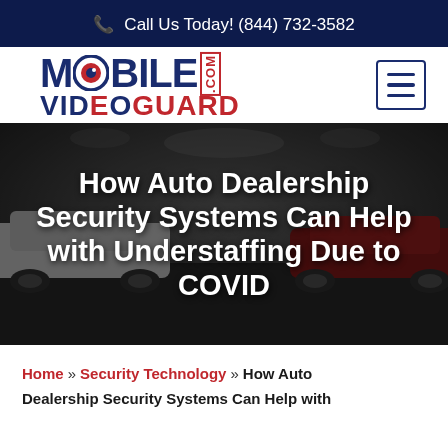Call Us Today! (844) 732-3582
[Figure (logo): Mobile VideoGuard .com logo with stylized camera eye replacing the O in MOBILE]
[Figure (photo): Darkened auto dealership showroom with cars, used as hero banner background]
How Auto Dealership Security Systems Can Help with Understaffing Due to COVID
Home » Security Technology » How Auto Dealership Security Systems Can Help with